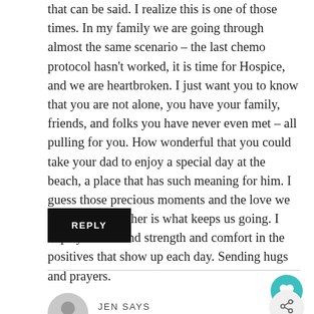that can be said. I realize this is one of those times. In my family we are going through almost the same scenario – the last chemo protocol hasn't worked, it is time for Hospice, and we are heartbroken. I just want you to know that you are not alone, you have your family, friends, and folks you have never even met – all pulling for you. How wonderful that you could take your dad to enjoy a special day at the beach, a place that has such meaning for him. I guess those precious moments and the love we have for each other is what keeps us going. I hope you can find strength and comfort in the positives that show up each day. Sending hugs and prayers.
REPLY
JEN SAYS